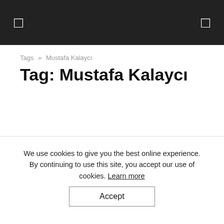[ ] navigation bar with menu icons
Tags » Mustafa Kalaycı
Tag: Mustafa Kalaycı
We use cookies to give you the best online experience. By continuing to use this site, you accept our use of cookies. Learn more
Accept
Erdoğan's thrilla alliance ally MHP excludes allegations of Gülen movement fro...